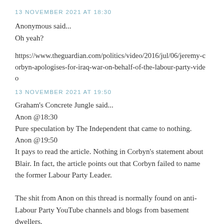13 NOVEMBER 2021 AT 18:30
Anonymous said...
Oh yeah?
https://www.theguardian.com/politics/video/2016/jul/06/jeremy-corbyn-apologises-for-iraq-war-on-behalf-of-the-labour-party-video
13 NOVEMBER 2021 AT 19:50
Graham's Concrete Jungle said...
Anon @18:30
Pure speculation by The Independent that came to nothing.
Anon @19:50
It pays to read the article. Nothing in Corbyn's statement about Blair. In fact, the article points out that Corbyn failed to name the former Labour Party Leader.

The shit from Anon on this thread is normally found on anti-Labour Party YouTube channels and blogs from basement dwellers.
13 NOVEMBER 2021 AT 20:49